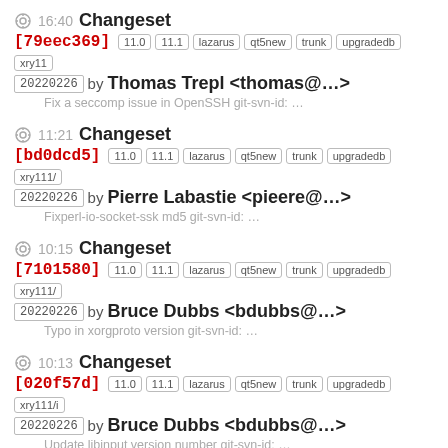16:40 Changeset [79eec369] 11.0 11.1 lazarus qt5new trunk upgradedb xry11 20220226 by Thomas Trepl <thomas@...> Fix a seccomp issue in OpenSSH git-svn-id: ...
11:21 Changeset [bd0dcd5] 11.0 11.1 lazarus qt5new trunk upgradedb xry111/ 20220226 by Pierre Labastie <pieere@...> Fixperl-io-socket-ssk md5 git-svn-id: ...
10:15 Changeset [7101580] 11.0 11.1 lazarus qt5new trunk upgradedb xry111/ 20220226 by Bruce Dubbs <bdubbs@...> Typo in xorgproto version git-svn-id: ...
10:13 Changeset [020f57d] 11.0 11.1 lazarus qt5new trunk upgradedb xry111/i 20220226 by Bruce Dubbs <bdubbs@...> Update libinput version number git-svn-id: ...
10:10 Ticket #14722 (poppler-21.03.0) created by Bruce Dubbs March 2021 version